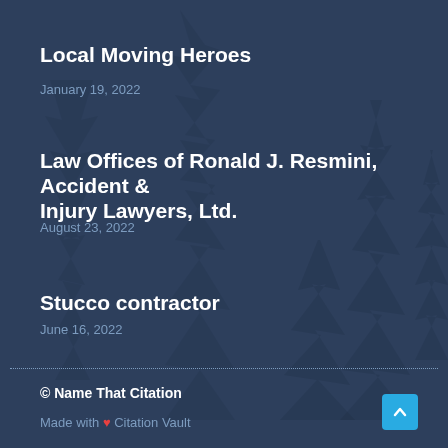Local Moving Heroes
January 19, 2022
Law Offices of Ronald J. Resmini, Accident & Injury Lawyers, Ltd.
August 23, 2022
Stucco contractor
June 16, 2022
© Name That Citation
Made with ❤ Citation Vault